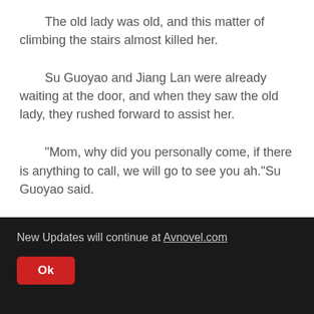The old lady was old, and this matter of climbing the stairs almost killed her.
Su Guoyao and Jiang Lan were already waiting at the door, and when they saw the old lady, they rushed forward to assist her.
"Mom, why did you personally come, if there is anything to call, we will go to see you ah."Su Guoyao said.
New Updates will continue at Avnovel.com
Ok